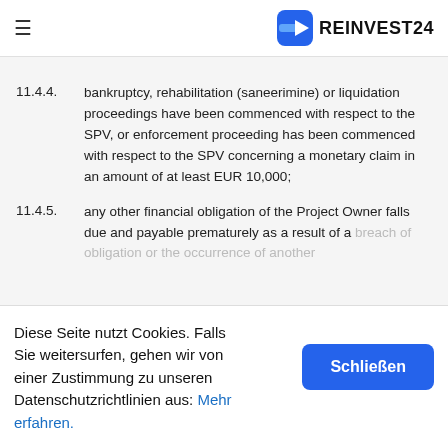REINVEST24
11.4.4. bankruptcy, rehabilitation (saneerimine) or liquidation proceedings have been commenced with respect to the SPV, or enforcement proceeding has been commenced with respect to the SPV concerning a monetary claim in an amount of at least EUR 10,000;
11.4.5. any other financial obligation of the Project Owner falls due and payable prematurely as a result of a breach of obligation or the occurrence of another...
Diese Seite nutzt Cookies. Falls Sie weitersurfen, gehen wir von einer Zustimmung zu unseren Datenschutzrichtlinien aus: Mehr erfahren.